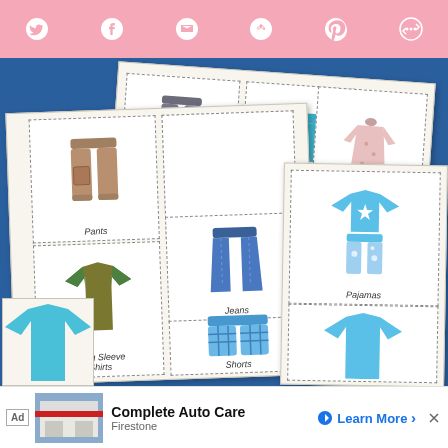[Figure (screenshot): Pink social sharing toolbar at top with icons for Twitter, Facebook, Email, SMS, Pinterest, and another share option on pink background]
[Figure (photo): Educational clothing vocabulary flash cards laid out on a blue background. Cards show illustrated clothing items with labels: Leggings, Skirts, Nightgowns, Long Sleeve Shirts, Capri Pants, Pants, Jeans, Pajamas, Long Sleeve Shirts, Shorts]
[Figure (infographic): Advertisement banner at bottom: 'Complete Auto Care' by Firestone with Learn More button]